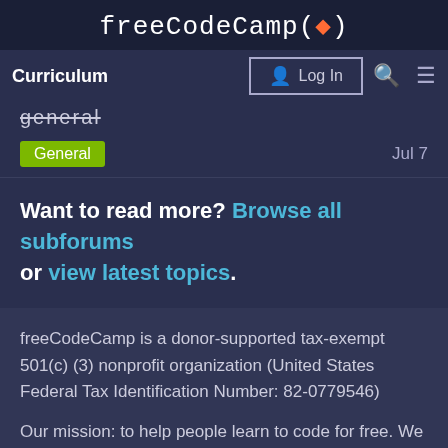freeCodeCamp(🔥)
Curriculum | Log In
general
General | Jul 7
Want to read more? Browse all subforums or view latest topics.
freeCodeCamp is a donor-supported tax-exempt 501(c) (3) nonprofit organization (United States Federal Tax Identification Number: 82-0779546)
Our mission: to help people learn to code for free. We accomplish this by creating thousands
1 / 3